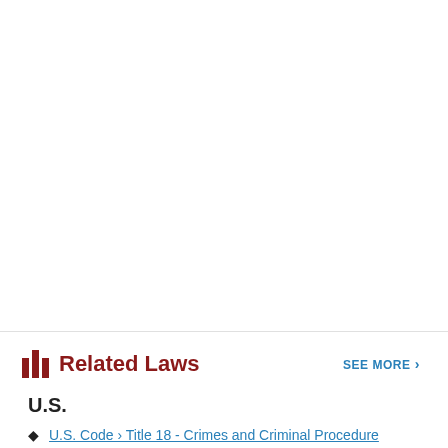Related Laws
U.S.
U.S. Code › Title 18 - Crimes and Criminal Procedure